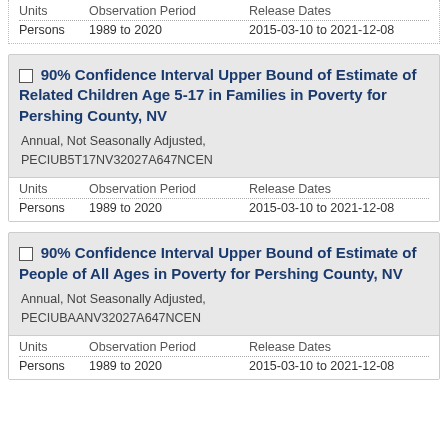| Units | Observation Period | Release Dates |
| --- | --- | --- |
| Persons | 1989 to 2020 | 2015-03-10 to 2021-12-08 |
90% Confidence Interval Upper Bound of Estimate of Related Children Age 5-17 in Families in Poverty for Pershing County, NV
Annual, Not Seasonally Adjusted, PECIUB5T17NV32027A647NCEN
| Units | Observation Period | Release Dates |
| --- | --- | --- |
| Persons | 1989 to 2020 | 2015-03-10 to 2021-12-08 |
90% Confidence Interval Upper Bound of Estimate of People of All Ages in Poverty for Pershing County, NV
Annual, Not Seasonally Adjusted, PECIUBAANV32027A647NCEN
| Units | Observation Period | Release Dates |
| --- | --- | --- |
| Persons | 1989 to 2020 | 2015-03-10 to 2021-12-08 |